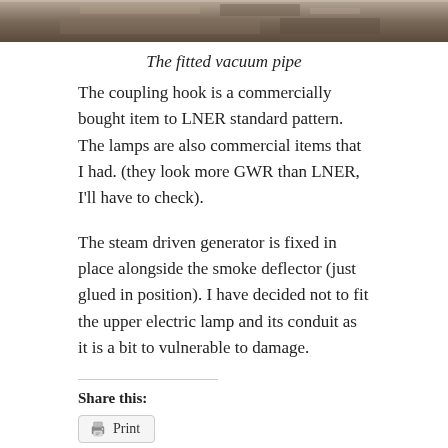[Figure (photo): Partial view of a model railway locomotive showing fitted vacuum pipe and related components, photographed from above.]
The fitted vacuum pipe
The coupling hook is a commercially bought item to LNER standard pattern. The lamps are also commercial items that I had. (they look more GWR than LNER, I'll have to check).
The steam driven generator is fixed in place alongside the smoke deflector (just glued in position). I have decided not to fit the upper electric lamp and its conduit as it is a bit to vulnerable to damage.
Share this:
Print